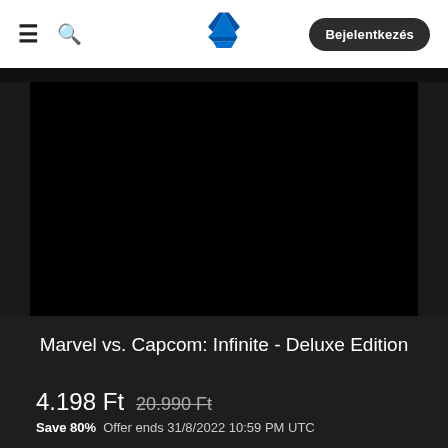≡  🔍  [PlayStation Logo]  Bejelentkezés
[Figure (screenshot): Black video/media player area for Marvel vs. Capcom: Infinite - Deluxe Edition]
Marvel vs. Capcom: Infinite - Deluxe Edition
4.198 Ft  20.990 Ft
Save 80%  Offer ends 31/8/2022 10:59 PM UTC